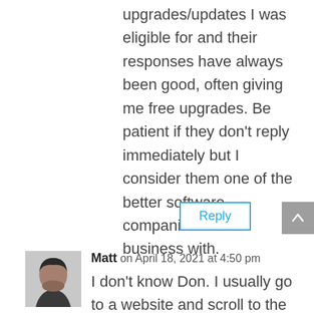upgrades/updates I was eligible for and their responses have always been good, often giving me free upgrades. Be patient if they don't reply immediately but I consider them one of the better software companies to do business with.
Reply
Matt on April 18, 2021 at 4:50 pm
I don't know Don. I usually go to a website and scroll to the